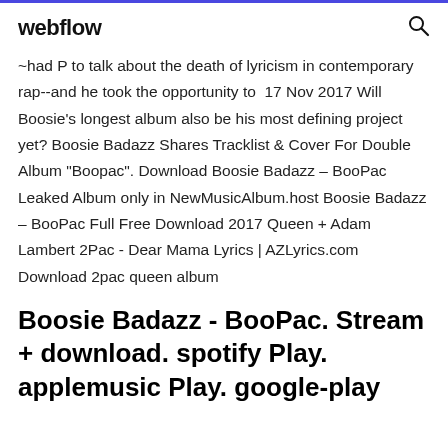webflow
...had P to talk about the death of lyricism in contemporary rap--and he took the opportunity to  17 Nov 2017 Will Boosie's longest album also be his most defining project yet? Boosie Badazz Shares Tracklist & Cover For Double Album "Boopac". Download Boosie Badazz – BooPac Leaked Album only in NewMusicAlbum.host Boosie Badazz – BooPac Full Free Download 2017 Queen + Adam Lambert 2Pac - Dear Mama Lyrics | AZLyrics.com Download 2pac queen album
Boosie Badazz - BooPac. Stream + download. spotify Play. applemusic Play. google-play